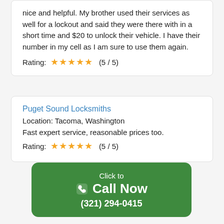nice and helpful. My brother used their services as well for a lockout and said they were there with in a short time and $20 to unlock their vehicle. I have their number in my cell as I am sure to use them again.
Rating: ★★★★★ (5 / 5)
Puget Sound Locksmiths
Location: Tacoma, Washington
Fast expert service, reasonable prices too.
Rating: ★★★★★ (5 / 5)
[Figure (other): Green call-to-action button with phone icon reading 'Click to Call Now (321) 294-0415']